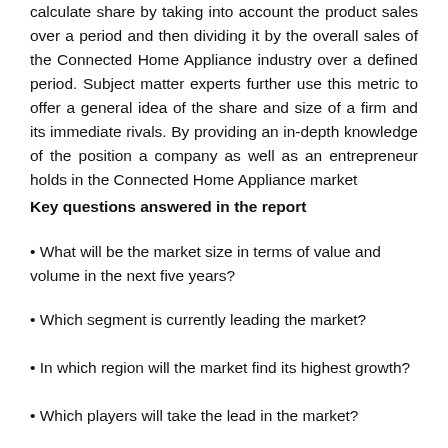calculate share by taking into account the product sales over a period and then dividing it by the overall sales of the Connected Home Appliance industry over a defined period. Subject matter experts further use this metric to offer a general idea of the share and size of a firm and its immediate rivals. By providing an in-depth knowledge of the position a company as well as an entrepreneur holds in the Connected Home Appliance market
Key questions answered in the report
• What will be the market size in terms of value and volume in the next five years?
• Which segment is currently leading the market?
• In which region will the market find its highest growth?
• Which players will take the lead in the market?